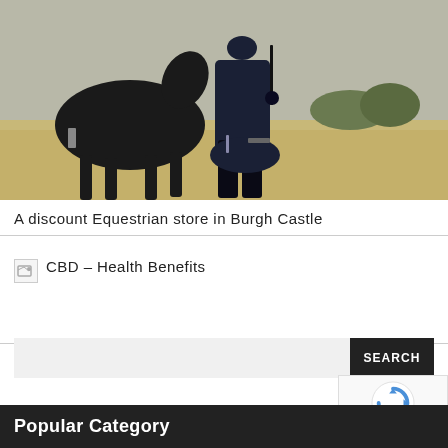[Figure (photo): Person in dark equestrian coat standing next to a dark horse in an outdoor field setting]
A discount Equestrian store in Burgh Castle
CBD – Health Benefits
[Figure (other): Search bar with SEARCH button]
[Figure (other): reCAPTCHA badge with Privacy and Terms text]
Popular Category